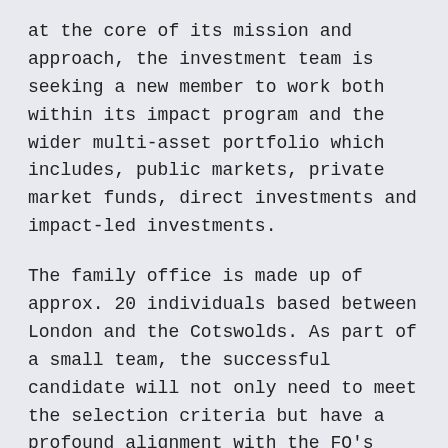at the core of its mission and approach, the investment team is seeking a new member to work both within its impact program and the wider multi-asset portfolio which includes, public markets, private market funds, direct investments and impact-led investments.
The family office is made up of approx. 20 individuals based between London and the Cotswolds. As part of a small team, the successful candidate will not only need to meet the selection criteria but have a profound alignment with the FO's values, ethos and purpose.
The family office celebrates diversity and